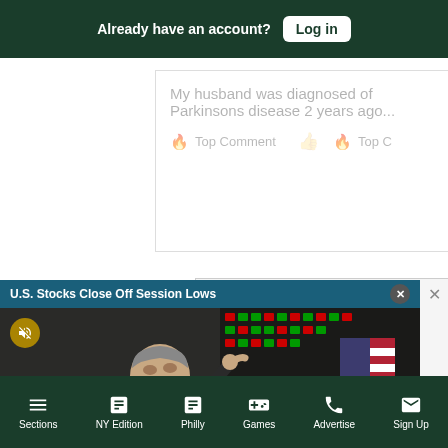Already have an account? Log in
My husband was diagnosed of Parkinsons disease 2 years ago...
Top Comment
That is t... searchin...
Top C...
[Figure (screenshot): News video popup overlay showing 'U.S. Stocks Close Off Session Lows' with a photo of a trader on the stock exchange floor looking upward, with mute button and close button visible]
Sections  NY Edition  Philly  Games  Advertise  Sign Up